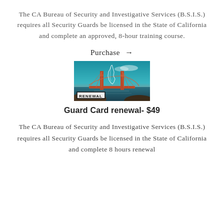The CA Bureau of Security and Investigative Services (B.S.I.S.) requires all Security Guards be licensed in the State of California and complete an approved, 8-hour training course.
Purchase →
[Figure (photo): Photo of the Golden Gate Bridge with a white outline of the state of California overlaid, and a 'RENEWAL' label in the bottom left corner.]
Guard Card renewal- $49
The CA Bureau of Security and Investigative Services (B.S.I.S.) requires all Security Guards be licensed in the State of California and complete 8 hours renewal